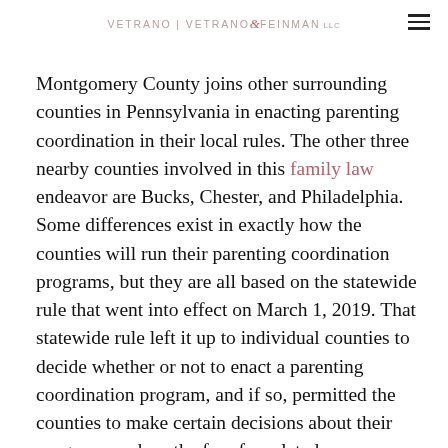VETRANO | VETRANO & FEINMAN LLC
Montgomery County joins other surrounding counties in Pennsylvania in enacting parenting coordination in their local rules. The other three nearby counties involved in this family law endeavor are Bucks, Chester, and Philadelphia. Some differences exist in exactly how the counties will run their parenting coordination programs, but they are all based on the statewide rule that went into effect on March 1, 2019. That statewide rule left it up to individual counties to decide whether or not to enact a parenting coordination program, and if so, permitted the counties to make certain decisions about their program, such as the fees for related